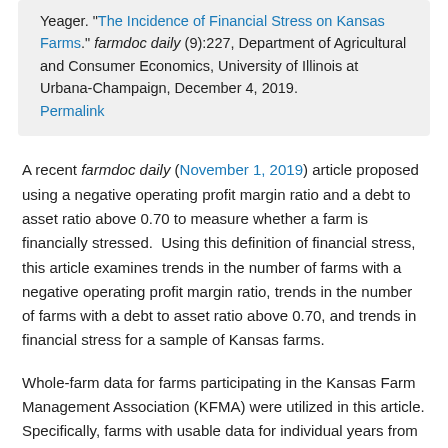Yeager. "The Incidence of Financial Stress on Kansas Farms." farmdoc daily (9):227, Department of Agricultural and Consumer Economics, University of Illinois at Urbana-Champaign, December 4, 2019. Permalink
A recent farmdoc daily (November 1, 2019) article proposed using a negative operating profit margin ratio and a debt to asset ratio above 0.70 to measure whether a farm is financially stressed. Using this definition of financial stress, this article examines trends in the number of farms with a negative operating profit margin ratio, trends in the number of farms with a debt to asset ratio above 0.70, and trends in financial stress for a sample of Kansas farms.
Whole-farm data for farms participating in the Kansas Farm Management Association (KFMA) were utilized in this article. Specifically, farms with usable data for individual years from 1973 to 2018 were used to compute the operating profit margin ratio, debt to asset ratio, and the incidence of financial